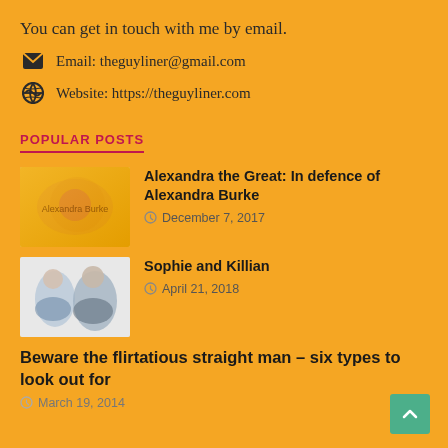You can get in touch with me by email.
Email: theguyliner@gmail.com
Website: https://theguyliner.com
POPULAR POSTS
Alexandra the Great: In defence of Alexandra Burke
December 7, 2017
Sophie and Killian
April 21, 2018
Beware the flirtatious straight man – six types to look out for
March 19, 2014